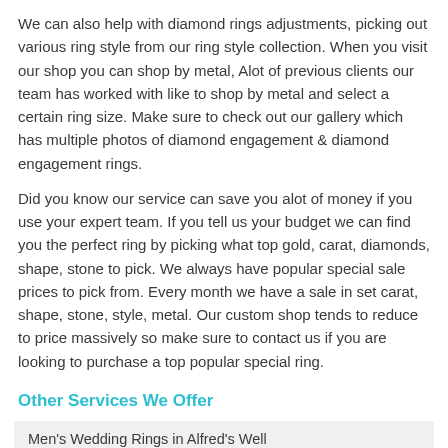We can also help with diamond rings adjustments, picking out various ring style from our ring style collection. When you visit our shop you can shop by metal, Alot of previous clients our team has worked with like to shop by metal and select a certain ring size. Make sure to check out our gallery which has multiple photos of diamond engagement & diamond engagement rings.
Did you know our service can save you alot of money if you use your expert team. If you tell us your budget we can find you the perfect ring by picking what top gold, carat, diamonds, shape, stone to pick. We always have popular special sale prices to pick from. Every month we have a sale in set carat, shape, stone, style, metal. Our custom shop tends to reduce to price massively so make sure to contact us if you are looking to purchase a top popular special ring.
Other Services We Offer
Men's Wedding Rings in Alfred's Well - https://www.weddingringsdirect.org.uk/mens/worcestershire/alfred-s-well/